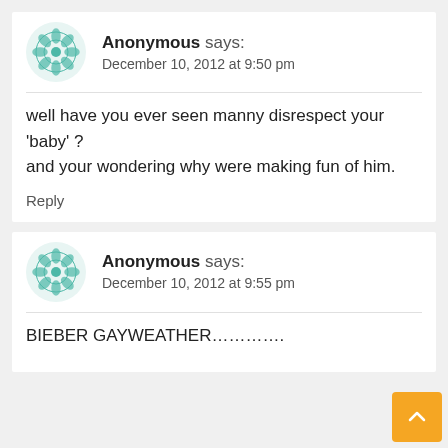Anonymous says: December 10, 2012 at 9:50 pm
well have you ever seen manny disrespect your 'baby' ? and your wondering why were making fun of him.
Reply
Anonymous says: December 10, 2012 at 9:55 pm
BIEBER GAYWEATHER…………..